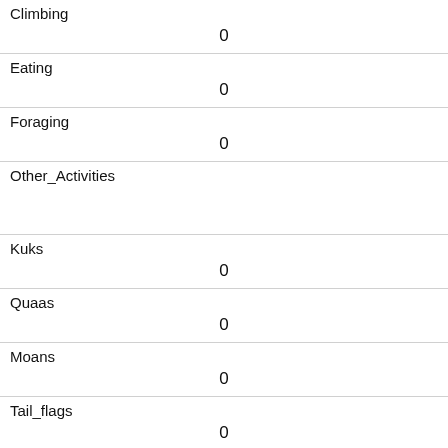| Climbing | 0 |
| Eating | 0 |
| Foraging | 0 |
| Other_Activities |  |
| Kuks | 0 |
| Quaas | 0 |
| Moans | 0 |
| Tail_flags | 0 |
| Tail_twitches | 1 |
| Approaches | 0 |
| Indifferent |  |